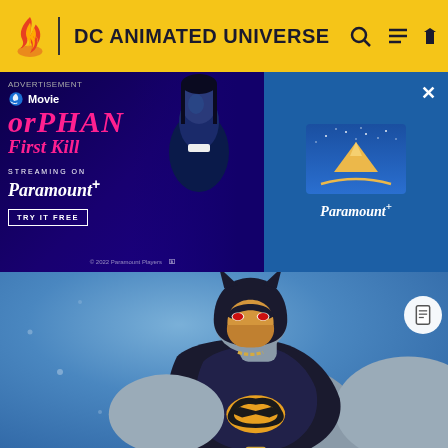DC ANIMATED UNIVERSE
[Figure (screenshot): Advertisement banner for 'Orphan: First Kill' streaming on Paramount+. Left side shows movie title in pink italic font on dark purple/indigo background with a girl's image. Right side shows Paramount+ logo on blue background. Ad label at top left, X close button at top right.]
[Figure (screenshot): Animated image of Batman character from DC Animated Universe, showing the character in black costume with yellow batman logo on chest, looking to the side, on a blue background.]